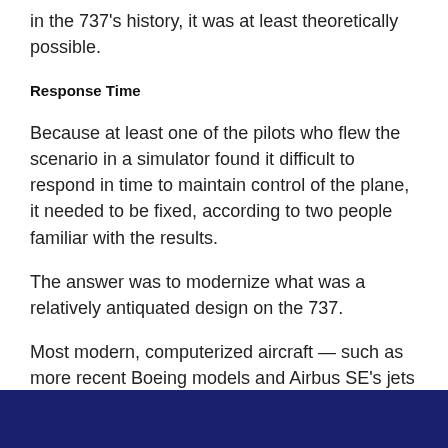in the 737's history, it was at least theoretically possible.
Response Time
Because at least one of the pilots who flew the scenario in a simulator found it difficult to respond in time to maintain control of the plane, it needed to be fixed, according to two people familiar with the results.
The answer was to modernize what was a relatively antiquated design on the 737.
Most modern, computerized aircraft — such as more recent Boeing models and Airbus SE's jets — use three computer systems to